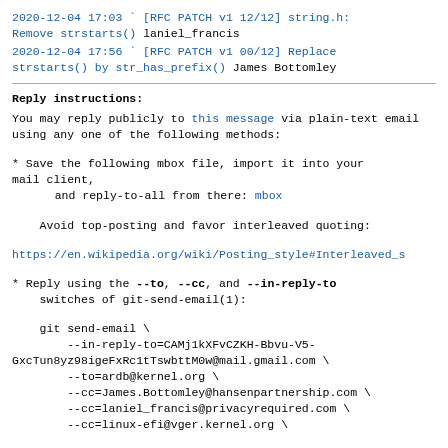2020-12-04 17:03 ` [RFC PATCH v1 12/12] string.h: Remove strstarts() laniel_francis
2020-12-04 17:56 ` [RFC PATCH v1 00/12] Replace strstarts() by str_has_prefix() James Bottomley
Reply instructions:
You may reply publicly to this message via plain-text email
using any one of the following methods:
* Save the following mbox file, import it into your mail client,
   and reply-to-all from there: mbox
Avoid top-posting and favor interleaved quoting:
https://en.wikipedia.org/wiki/Posting_style#Interleaved_s
* Reply using the --to, --cc, and --in-reply-to switches of git-send-email(1):
git send-email \
       --in-reply-to=CAMj1kXFvCZKH-Bbvu-V5-GxcTun8yz98igeFxRc1tTswbttM0w@mail.gmail.com \
       --to=ardb@kernel.org \
       --cc=James.Bottomley@hansenpartnership.com \
       --cc=laniel_francis@privacyrequired.com \
       --cc=linux-efi@vger.kernel.org \